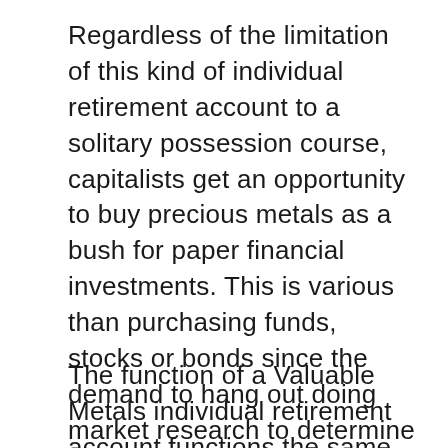Regardless of the limitation of this kind of individual retirement account to a solitary possession course, capitalists get an opportunity to buy precious metals as a bush for paper financial investments. This is various than purchasing funds, stocks or bonds since the demand to hang out doing market research to determine the best financial investments for a rare-earth elements individual retirement account has been eliminated. The customer merely picks from a directory containing silver and gold bullion to fund their account.
The function of a Valuable Metals individual retirement account functions the same way as a Roth or Standard Individual Retirement Account. Clients saving for retired life obtain